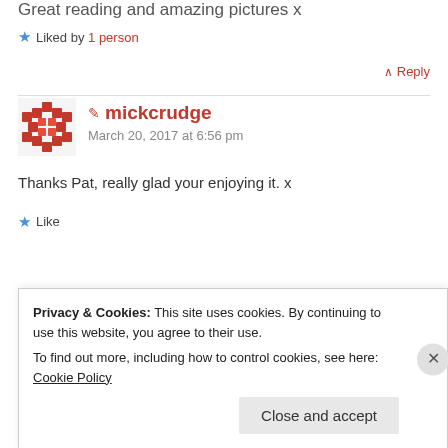Great reading and amazing pictures x
★ Liked by 1 person
↑ Reply
mickcrudge
March 20, 2017 at 6:56 pm
Thanks Pat, really glad your enjoying it. x
★ Like
↑ Reply
Privacy & Cookies: This site uses cookies. By continuing to use this website, you agree to their use.
To find out more, including how to control cookies, see here: Cookie Policy
Close and accept